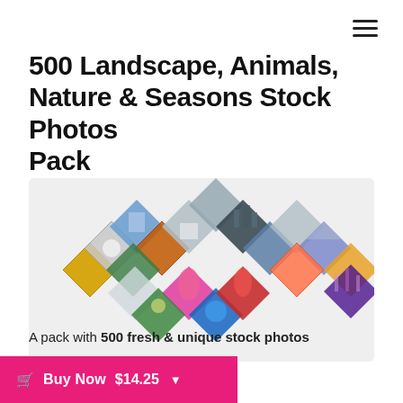[Figure (infographic): Hamburger menu icon (three horizontal lines) in top right corner]
500 Landscape, Animals, Nature & Seasons Stock Photos Pack
[Figure (photo): A collage of diamond/rotated-square shaped stock photos showing landscapes, animals, flowers, nature and seasons arranged in a wave pattern on a light grey background]
A pack with 500 fresh & unique stock photos